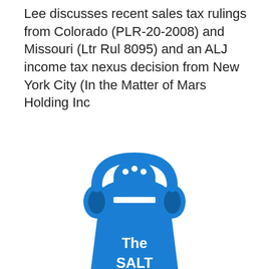Lee discusses recent sales tax rulings from Colorado (PLR-20-2008) and Missouri (Ltr Rul 8095) and an ALJ income tax nexus decision from New York City (In the Matter of Mars Holding Inc
[Figure (logo): The SALT Shaker Podcast logo: a blue salt shaker shape wearing headphones, with white text reading 'The SALT Shaker Podcast']